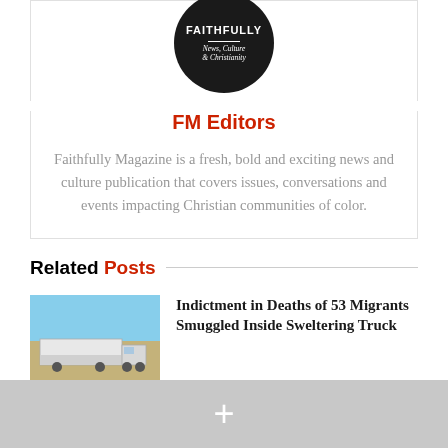[Figure (logo): Faithfully Magazine circular logo, black background, white text reading FAITHFULLY / News, Culture & Christianity]
FM Editors
Faithfully Magazine is a fresh, bold and exciting news and culture publication that covers issues, conversations and events impacting Christian communities of color.
Related Posts
[Figure (photo): Photo of a white semi-truck trailer parked in a flat desert landscape under blue sky]
Indictment in Deaths of 53 Migrants Smuggled Inside Sweltering Truck
[Figure (photo): Partial photo, light colored background]
Christian Shelter Where Sex Trafficking Victims